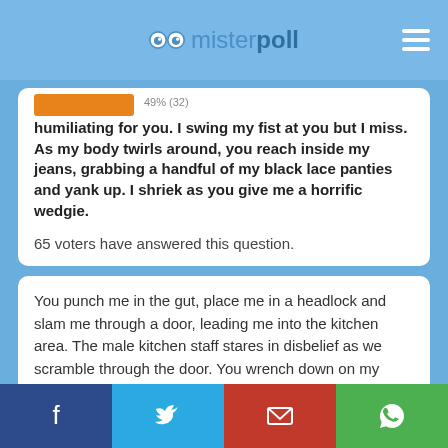misterpoll
humiliating for you. I swing my fist at you but I miss. As my body twirls around, you reach inside my jeans, grabbing a handful of my black lace panties and yank up. I shriek as you give me a horrific wedgie.
65 voters have answered this question.
You punch me in the gut, place me in a headlock and slam me through a door, leading me into the kitchen area. The male kitchen staff stares in disbelief as we scramble through the door. You wrench down on my neck and lead me toward the...
Sink. You grab a pressurized hose and spray me in the face. I scream